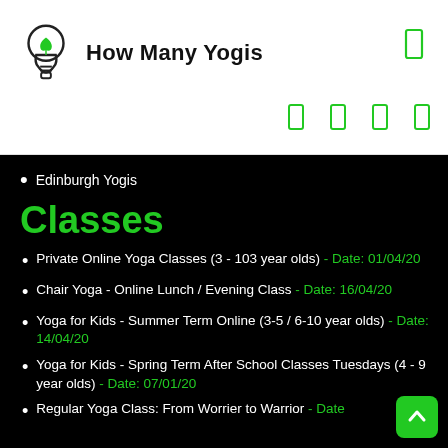How Many Yogis
Edinburgh Yogis
Classes
Private Online Yoga Classes (3 - 103 year olds) - Date: 01/04/20
Chair Yoga - Online Lunch / Evening Class - Date: 16/04/20
Yoga for Kids - Summer Term Online (3-5 / 6-10 year olds) - Date: 14/04/20
Yoga for Kids - Spring Term After School Classes Tuesdays (4 - 9 year olds) - Date: 07/01/20
Regular Yoga Class: From Worrier to Warrior - Date: